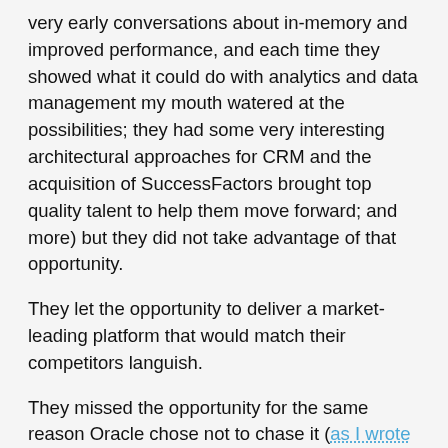very early conversations about in-memory and improved performance, and each time they showed what it could do with analytics and data management my mouth watered at the possibilities; they had some very interesting architectural approaches for CRM and the acquisition of SuccessFactors brought top quality talent to help them move forward; and more) but they did not take advantage of that opportunity.
They let the opportunity to deliver a market-leading platform that would match their competitors languish.
They missed the opportunity for the same reason Oracle chose not to chase it (as I wrote before): the biggest worry was to move forward with their late-adopter customer base versus doing something innovative and changing the conversation – or worse, leading the market (the necessary components and thinking are widespread